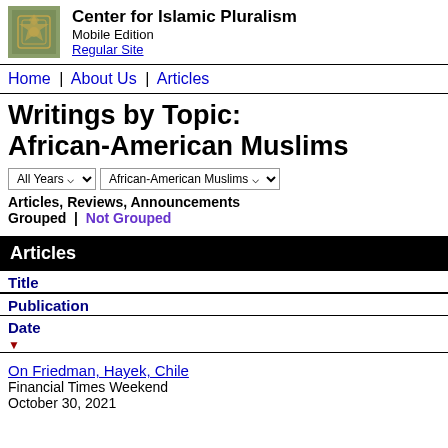Center for Islamic Pluralism Mobile Edition Regular Site
Home | About Us | Articles
Writings by Topic: African-American Muslims
All Years | African-American Muslims
Articles, Reviews, Announcements
Grouped | Not Grouped
Articles
Title
Publication
Date ▾
On Friedman, Hayek, Chile
Financial Times Weekend
October 30, 2021